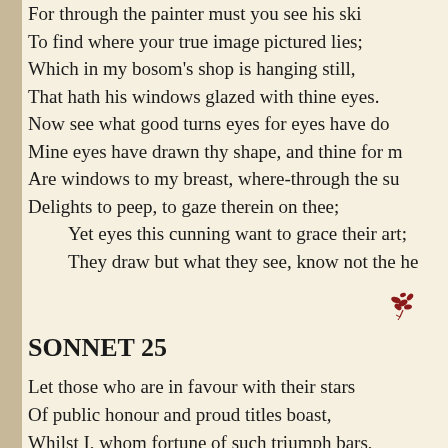For through the painter must you see his skill,
To find where your true image pictured lies;
Which in my bosom's shop is hanging still,
That hath his windows glazed with thine eyes.
Now see what good turns eyes for eyes have do
Mine eyes have drawn thy shape, and thine for m
Are windows to my breast, where-through the su
Delights to peep, to gaze therein on thee;
    Yet eyes this cunning want to grace their art;
    They draw but what they see, know not the he
[Figure (illustration): Small decorative dark red floral/leaf ornament used as section divider]
SONNET 25
Let those who are in favour with their stars
Of public honour and proud titles boast,
Whilst I, whom fortune of such triumph bars,
Unlook'd for joy in that I honour most.
Great princes' favourites their fair leaves spread
But as the marigold at the sun's eye,
And in themselves their pride lies buried,